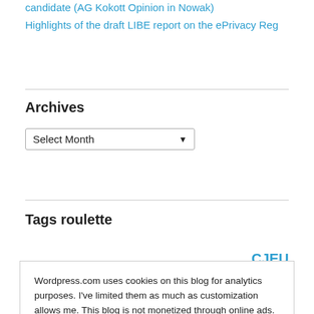candidate (AG Kokott Opinion in Nowak)
Highlights of the draft LIBE report on the ePrivacy Reg
Archives
Select Month
Tags roulette
Wordpress.com uses cookies on this blog for analytics purposes. I've limited them as much as customization allows me. This blog is not monetized through online ads. Consent will be recorded after you click the "Close and Accept" button, and not just by mere scrolling. The widget doesn't provide an "I refuse" button for any unnecessary cookies Wordpress may place, and I'm working on finding a solution for this.
Wordpress Cookie Policy
Close and accept